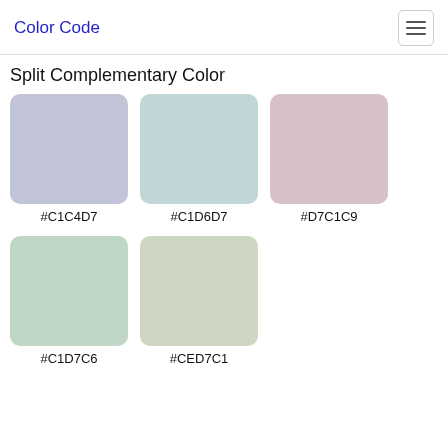Color Code
Split Complementary Color
[Figure (infographic): Five color swatches showing split complementary colors: #C1C4D7 (muted lavender), #C1D6D7 (muted teal), #D7C1C9 (muted mauve), #C1D7C6 (muted sage green), #CED7C1 (muted sage/khaki)]
#C1C4D7
#C1D6D7
#D7C1C9
#C1D7C6
#CED7C1